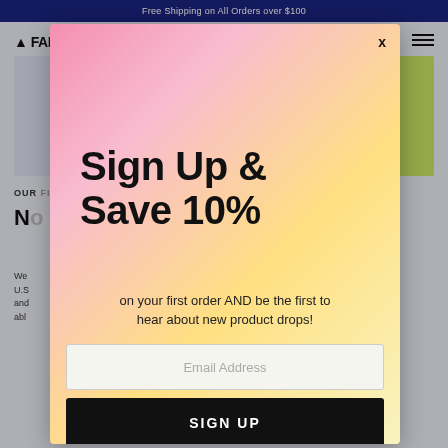Free Shipping on All Orders over $100
[Figure (screenshot): E-commerce website background with logo, hamburger menu, product image banner, section label OUR FITNESS, heading starting with N, and body text]
[Figure (infographic): Email signup modal popup with gradient background (pink to yellow). Contains close X button, headline 'Sign Up & Save 10%', subtext 'on your first order AND be the first to hear about new product drops!', email address input field, and black SIGN UP button.]